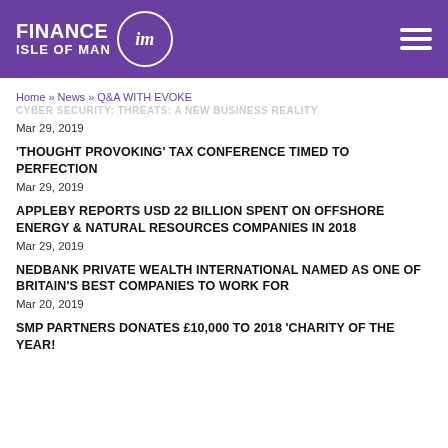Finance Isle of Man
Home » News » Q&A WITH EVOKE
CYBER SECURITY: THREATS: A NEW BUSINESS REALITY
Mar 29, 2019
'THOUGHT PROVOKING' TAX CONFERENCE TIMED TO PERFECTION
Mar 29, 2019
APPLEBY REPORTS USD 22 BILLION SPENT ON OFFSHORE ENERGY & NATURAL RESOURCES COMPANIES IN 2018
Mar 29, 2019
NEDBANK PRIVATE WEALTH INTERNATIONAL NAMED AS ONE OF BRITAIN'S BEST COMPANIES TO WORK FOR
Mar 20, 2019
SMP PARTNERS DONATES £10,000 TO 2018 'CHARITY OF THE YEAR!